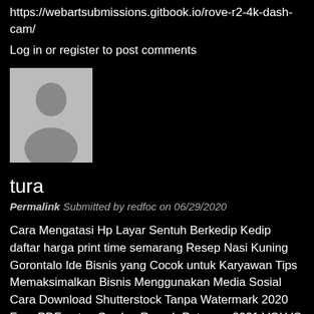https://webartsubmissions.gitbook.io/rove-r2-4k-dash-cam/
Log in or register to post comments
[Figure (photo): Default user avatar placeholder - silhouette of a person on grey background]
tura
Permalink Submitted by redfoc on 06/29/2020
Cara Mengatasi Hp Layar Sentuh Berkedip Kedip daftar harga print time semarang Resep Nasi Kuning Gorontalo Ide Bisnis yang Cocok untuk Karyawan Tips Memaksimalkan Bisnis Menggunakan Media Sosial Cara Download Shutterstock Tanpa Watermark 2020 Free PDF notes Gorden Rumah Pptp vpn 2021 VOLVO V60 DESIGN, DIMENSIONS, SPECS Gadgets News situs tempat download software harga behel ajaib original myjobsi RESEP MATCHA BASQUE BURNT